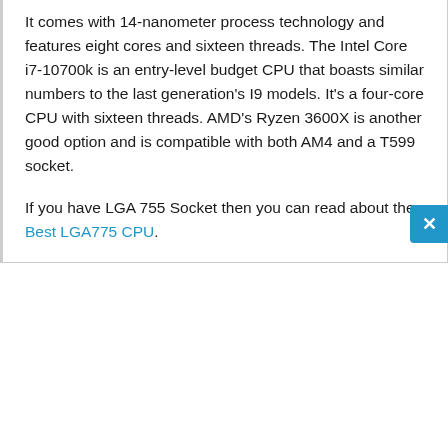It comes with 14-nanometer process technology and features eight cores and sixteen threads. The Intel Core i7-10700k is an entry-level budget CPU that boasts similar numbers to the last generation's I9 models. It's a four-core CPU with sixteen threads. AMD's Ryzen 3600X is another good option and is compatible with both AM4 and a T599 socket.
If you have LGA 755 Socket then you can read about the Best LGA775 CPU.